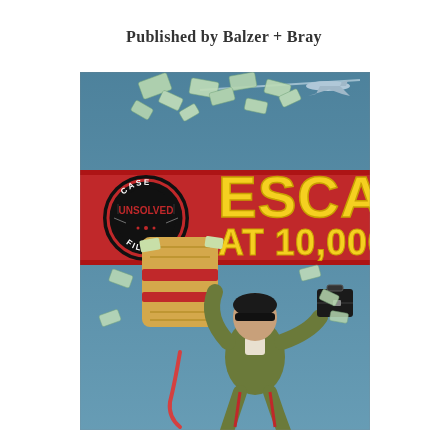Published by Balzer + Bray
[Figure (illustration): Book cover illustration for 'Escape at 10,000 Feet' from the Unsolved Case Files series, published by Balzer + Bray. Features a stylized illustration of a man in dark glasses falling from a plane, holding a briefcase and a bundle of money, with dollar bills flying in a blue sky. A red banner across the middle displays the title text in bold yellow letters. A circular stamp logo reads 'Unsolved Case Files'.]